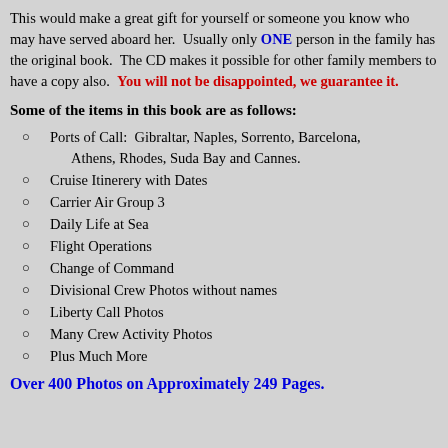This would make a great gift for yourself or someone you know who may have served aboard her. Usually only ONE person in the family has the original book. The CD makes it possible for other family members to have a copy also. You will not be disappointed, we guarantee it.
Some of the items in this book are as follows:
Ports of Call: Gibraltar, Naples, Sorrento, Barcelona, Athens, Rhodes, Suda Bay and Cannes.
Cruise Itinerery with Dates
Carrier Air Group 3
Daily Life at Sea
Flight Operations
Change of Command
Divisional Crew Photos without names
Liberty Call Photos
Many Crew Activity Photos
Plus Much More
Over 400 Photos on Approximately 249 Pages.